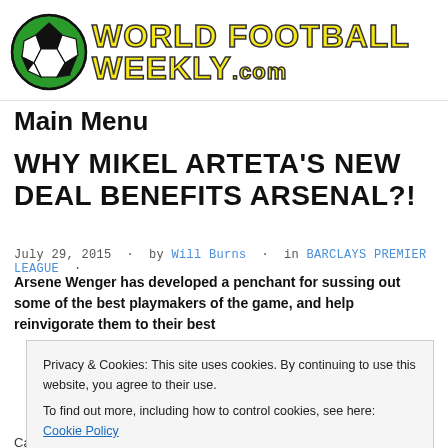[Figure (logo): World Football Weekly logo with soccer ball and yellow text on white background]
Main Menu
WHY MIKEL ARTETA'S NEW DEAL BENEFITS ARSENAL?!
July 29, 2015 · by Will Burns · in BARCLAYS PREMIER LEAGUE ·
Arsene Wenger has developed a penchant for sussing out some of the best playmakers of the game, and help reinvigorate them to their best
Privacy & Cookies: This site uses cookies. By continuing to use this website, you agree to their use.
To find out more, including how to control cookies, see here: Cookie Policy
Close and accept
Cazorla has since looked to pick up the pieces where he has left off. Arteta